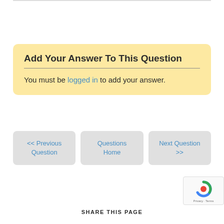Add Your Answer To This Question
You must be logged in to add your answer.
<< Previous Question
Questions Home
Next Question >>
SHARE THIS PAGE